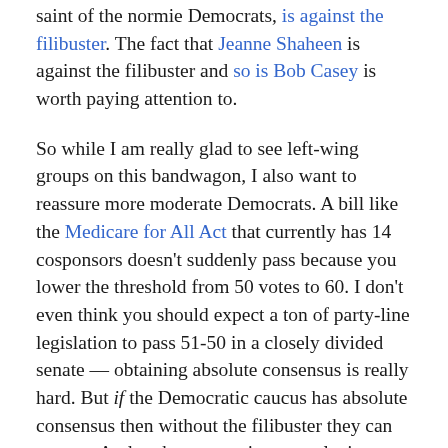saint of the normie Democrats, is against the filibuster. The fact that Jeanne Shaheen is against the filibuster and so is Bob Casey is worth paying attention to.
So while I am really glad to see left-wing groups on this bandwagon, I also want to reassure more moderate Democrats. A bill like the Medicare for All Act that currently has 14 cosponsors doesn’t suddenly pass because you lower the threshold from 50 votes to 60. I don’t even think you should expect a ton of party-line legislation to pass 51-50 in a closely divided senate — obtaining absolute consensus is really hard. But if the Democratic caucus has absolute consensus then without the filibuster they can govern. And perhaps more importantly, in a majority rules Senate, a light dollop of bipartisanship can get a bill over the hump rather than everything being total obstruction or a